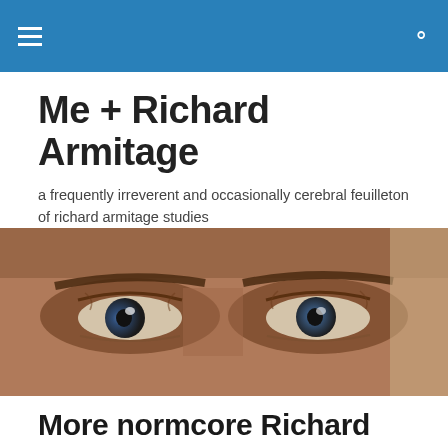Me + Richard Armitage — navigation bar
Me + Richard Armitage
a frequently irreverent and occasionally cerebral feuilleton of richard armitage studies
[Figure (photo): Close-up photo of a man's eyes, showing intense blue-grey eyes with aged skin, warm brown tones]
More normcore Richard Armitage
Posted by Servetus
So, I'm guessing that's a Snyder Capitol Fleece jacket?